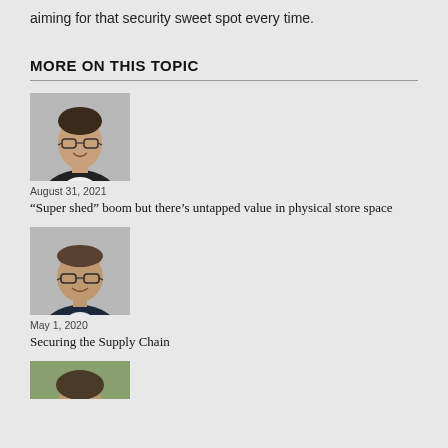aiming for that security sweet spot every time.
MORE ON THIS TOPIC
[Figure (photo): Headshot of a man with glasses wearing a dark jacket]
August 31, 2021
“Super shed” boom but there’s untapped value in physical store space
[Figure (photo): Headshot of a man with glasses wearing a dark suit]
May 1, 2020
Securing the Supply Chain
[Figure (photo): Headshot of a man, partial view, green background]